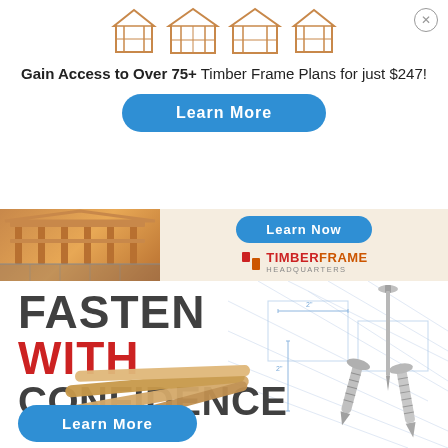[Figure (illustration): Timber frame structure icons (four shed/pavilion outlines)]
Gain Access to Over 75+ Timber Frame Plans for just $247!
Learn More
[Figure (illustration): Timber Frame Headquarters mid banner with timber frame pavilion image, Learn Now button, and TimberFrame Headquarters logo]
[Figure (illustration): Fasten With Confidence advertisement with dowels, screws, nail, and blueprint background. Text: FASTEN WITH CONFIDENCE, Learn More button]